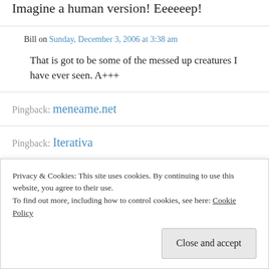Imagine a human version! Eeeeeep!
Bill on Sunday, December 3, 2006 at 3:38 am
That is got to be some of the messed up creatures I have ever seen. A+++
Pingback: meneame.net
Pingback: Iterativa
Privacy & Cookies: This site uses cookies. By continuing to use this website, you agree to their use.
To find out more, including how to control cookies, see here: Cookie Policy